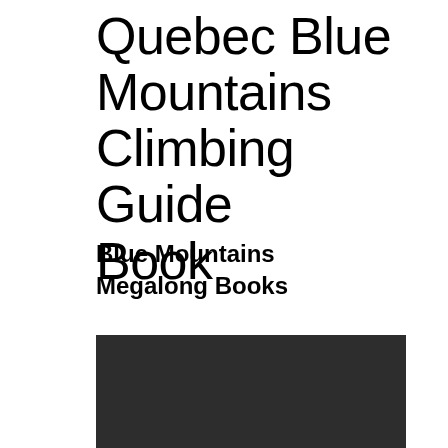Quebec Blue Mountains Climbing Guide Book
Blue Mountains Megalong Books
[Figure (photo): Dark/black photograph, content not visible — appears to be a climbing or mountain scene]